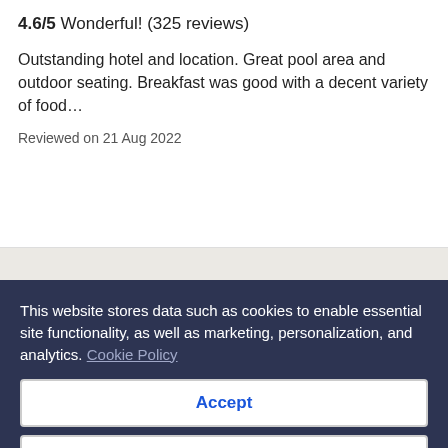4.6/5 Wonderful! (325 reviews)
Outstanding hotel and location. Great pool area and outdoor seating. Breakfast was good with a decent variety of food…
Reviewed on 21 Aug 2022
[Figure (illustration): Map placeholder background with repeating travel/location icons in light gray on a beige background]
This website stores data such as cookies to enable essential site functionality, as well as marketing, personalization, and analytics. Cookie Policy
Accept
Deny